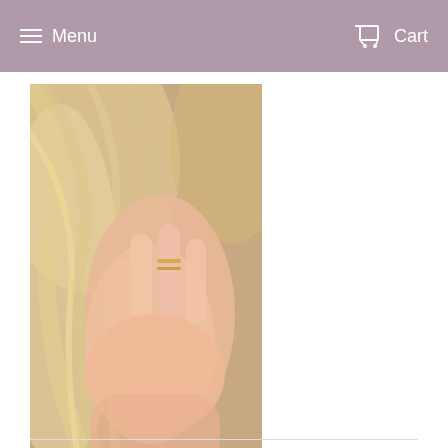Menu  Cart
[Figure (photo): Close-up photo of a woman's hand touching her blonde hair, wearing two thin gold stacking rings on her finger.]
Skinny Stacking Rings
$18.00